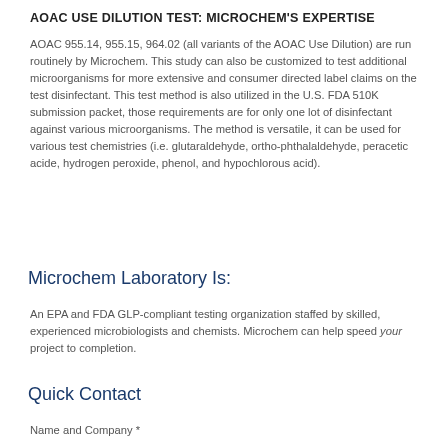AOAC USE DILUTION TEST: MICROCHEM'S EXPERTISE
AOAC 955.14, 955.15, 964.02 (all variants of the AOAC Use Dilution) are run routinely by Microchem.  This study can also be customized to test additional microorganisms for more extensive and consumer directed label claims on the test disinfectant.  This test method is also utilized in the U.S. FDA  510K submission packet, those requirements are for only one lot of disinfectant against various microorganisms. The method is versatile, it can be used for various test chemistries (i.e. glutaraldehyde, ortho-phthalaldehyde, peracetic acide, hydrogen peroxide, phenol, and hypochlorous acid).
Microchem Laboratory Is:
An EPA and FDA GLP-compliant testing organization staffed by skilled, experienced microbiologists and chemists.  Microchem can help speed your project to completion.
Quick Contact
Name and Company *